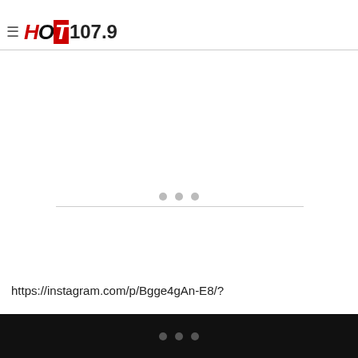battle of the sexes – Team Lawrence versus Team Issa. Now ... may be missing a part of that dynamic.
[Figure (logo): HOT 107.9 radio station logo with hamburger menu icon]
[Figure (other): Embedded content area with three loading dots and horizontal divider line]
https://instagram.com/p/Bgge4gAn-E8/?
... (three dots navigation indicator on black bar)